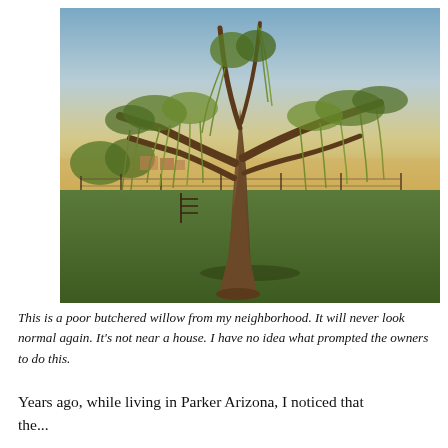[Figure (photo): Outdoor photograph of a large willow tree with severely pruned/butchered branches, standing in a green grassy field at dusk or sunset. The tree has thick bare branches sticking out with weeping willow foliage hanging down. A rural fence line and buildings are visible in the background under a pale sunset sky.]
This is a poor butchered willow from my neighborhood. It will never look normal again. It's not near a house. I have no idea what prompted the owners to do this.
Years ago, while living in Parker Arizona, I noticed that the...